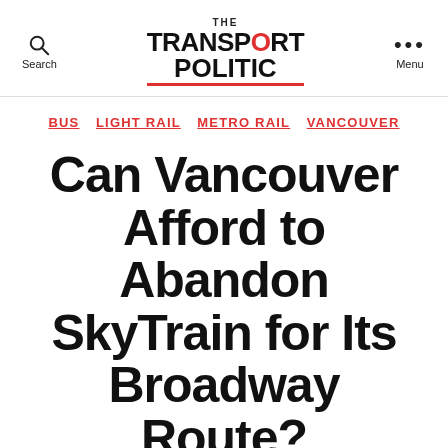THE TRANSPORT POLITIC — Search | Menu
BUS  LIGHT RAIL  METRO RAIL  VANCOUVER
Can Vancouver Afford to Abandon SkyTrain for Its Broadway Route?
By Yonah Freemark   20 April 2010
43 Comments